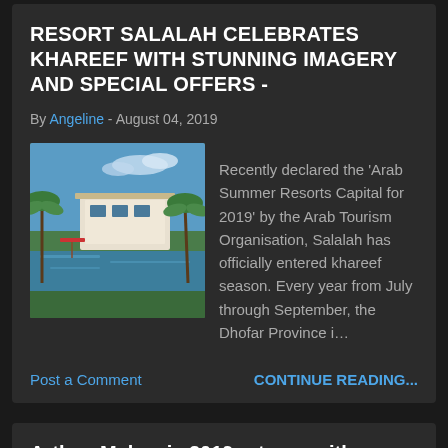RESORT SALALAH CELEBRATES KHAREEF WITH STUNNING IMAGERY AND SPECIAL OFFERS -
By Angeline - August 04, 2019
[Figure (photo): Exterior/pool view of a resort with tropical greenery and blue sky]
Recently declared the ‘Arab Summer Resorts Capital for 2019’ by the Arab Tourism Organisation, Salalah has officially entered khareef season. Every year from July through September, the Dhofar Province i…
Post a Comment
CONTINUE READING...
Artbox Malaysia 2019 returns with a leveled up theme: Assemble
By Angeline - August 04, 2019